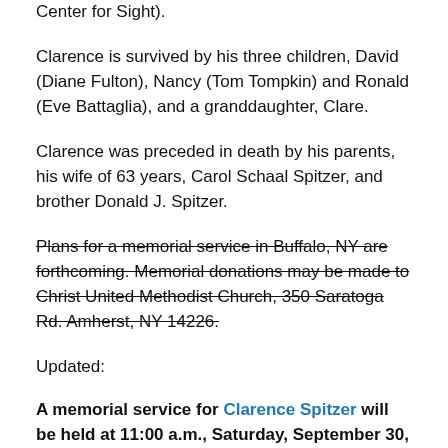Center for Sight).
Clarence is survived by his three children, David (Diane Fulton), Nancy (Tom Tompkin) and Ronald (Eve Battaglia), and a granddaughter, Clare.
Clarence was preceded in death by his parents, his wife of 63 years, Carol Schaal Spitzer, and brother Donald J. Spitzer.
Plans for a memorial service in Buffalo, NY are forthcoming. Memorial donations may be made to Christ United Methodist Church, 350 Saratoga Rd. Amherst, NY 14226.
Updated:
A memorial service for Clarence Spitzer will be held at 11:00 a.m., Saturday, September 30, at Christ United